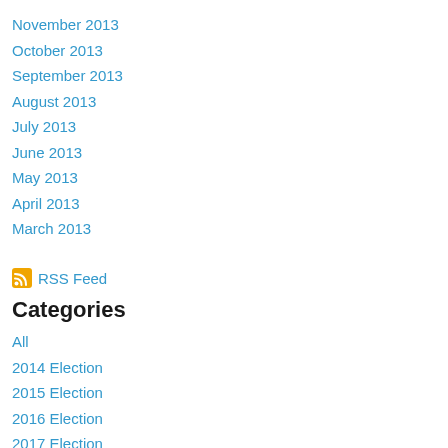November 2013
October 2013
September 2013
August 2013
July 2013
June 2013
May 2013
April 2013
March 2013
[Figure (logo): RSS Feed icon]
RSS Feed
Categories
All
2014 Election
2015 Election
2016 Election
2017 Election
2018 Election
2019 Election